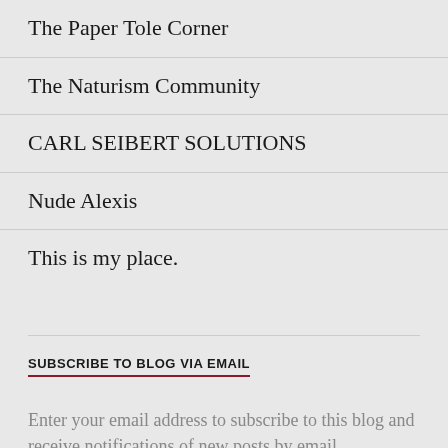The Paper Tole Corner
The Naturism Community
CARL SEIBERT SOLUTIONS
Nude Alexis
This is my place.
SUBSCRIBE TO BLOG VIA EMAIL
Enter your email address to subscribe to this blog and receive notifications of new posts by email.